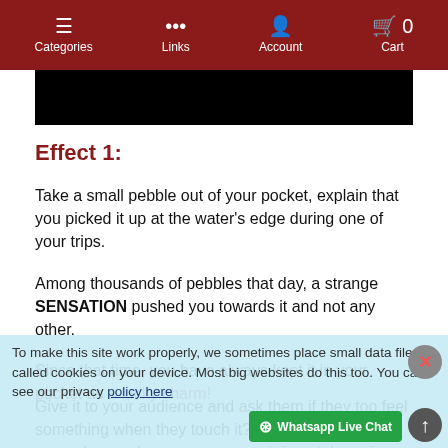Categories | Links | Account | Cart
[Figure (photo): Black image strip at top of page content area]
Effect 1:
Take a small pebble out of your pocket, explain that you picked it up at the water's edge during one of your trips.
Among thousands of pebbles that day, a strange SENSATION pushed you towards it and not any other.
Since that time, you have always kept it in your pocket as a lucky charm!
Give it to your audience and ask them if they too feel something when they touch it? While the pebble is passed around among your spectators, take out a small
To make this site work properly, we sometimes place small data files called cookies on your device. Most big websites do this too. You can see our privacy policy here